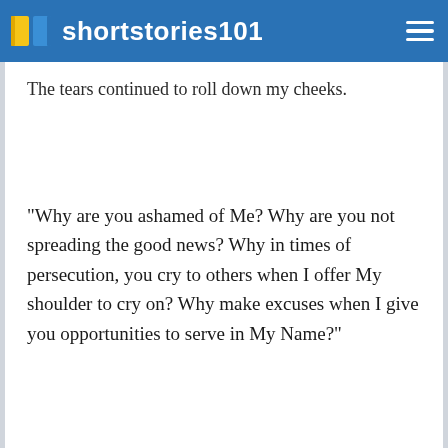shortstories101
The tears continued to roll down my cheeks.
"Why are you ashamed of Me? Why are you not spreading the good news? Why in times of persecution, you cry to others when I offer My shoulder to cry on? Why make excuses when I give you opportunities to serve in My Name?"